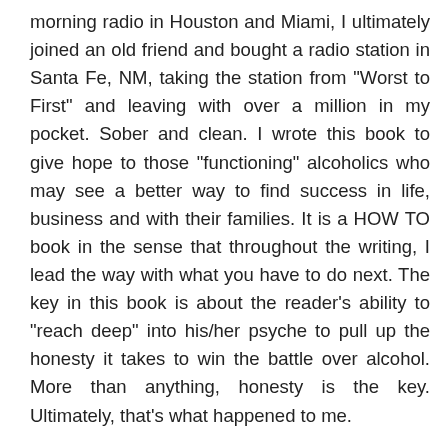morning radio in Houston and Miami, I ultimately joined an old friend and bought a radio station in Santa Fe, NM, taking the station from "Worst to First" and leaving with over a million in my pocket. Sober and clean. I wrote this book to give hope to those "functioning" alcoholics who may see a better way to find success in life, business and with their families. It is a HOW TO book in the sense that throughout the writing, I lead the way with what you have to do next. The key in this book is about the reader's ability to "reach deep" into his/her psyche to pull up the honesty it takes to win the battle over alcohol. More than anything, honesty is the key. Ultimately, that's what happened to me.